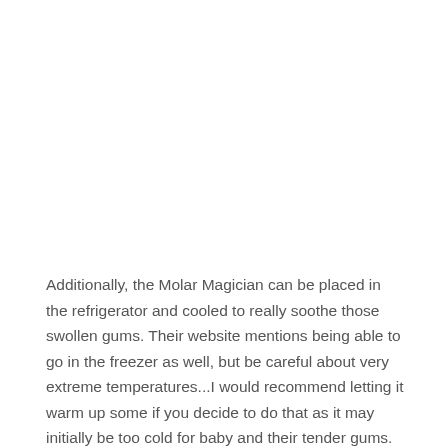Additionally, the Molar Magician can be placed in the refrigerator and cooled to really soothe those swollen gums. Their website mentions being able to go in the freezer as well, but be careful about very extreme temperatures...I would recommend letting it warm up some if you decide to do that as it may initially be too cold for baby and their tender gums.